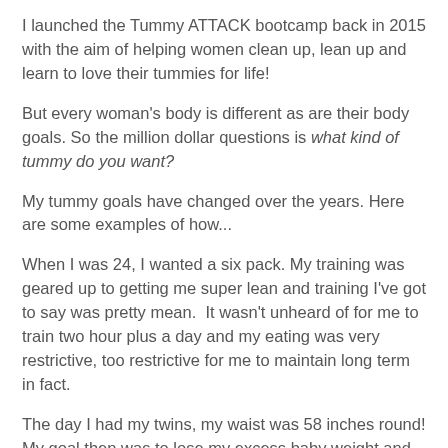I launched the Tummy ATTACK bootcamp back in 2015 with the aim of helping women clean up, lean up and learn to love their tummies for life!
But every woman's body is different as are their body goals. So the million dollar questions is what kind of tummy do you want?
My tummy goals have changed over the years. Here are some examples of how...
When I was 24, I wanted a six pack. My training was geared up to getting me super lean and training I've got to say was pretty mean.  It wasn't unheard of for me to train two hour plus a day and my eating was very restrictive, too restrictive for me to maintain long term in fact.
The day I had my twins, my waist was 58 inches round! My goal then was to lose my excess baby weight and get my gut health and nutrition spot on. I slept a lot and focused on keeping my stress levels down too. Taking it easy, having a great new Mum mindset, (with no